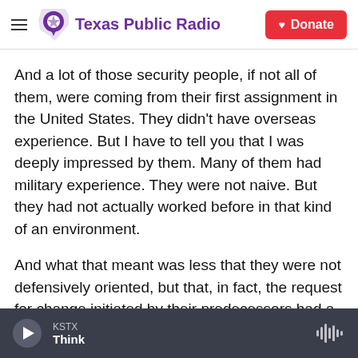Texas Public Radio | Donate
And a lot of those security people, if not all of them, were coming from their first assignment in the United States. They didn't have overseas experience. But I have to tell you that I was deeply impressed by them. Many of them had military experience. They were not naive. But they had not actually worked before in that kind of an environment.
And what that meant was less that they were not defensively oriented, but that, in fact, the request for change initiated by their predecessors had a propensity to fall between stools in part because
KSTX Think